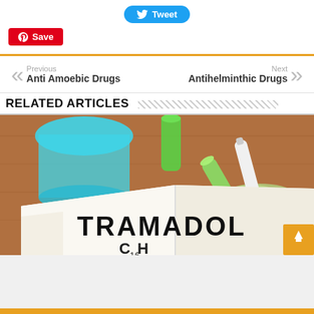[Figure (other): Tweet button (blue rounded rectangle with Twitter bird icon) and Save button (red rectangle with Pinterest icon)]
Previous
Anti Amoebic Drugs
Next
Antihelminthic Drugs
RELATED ARTICLES
[Figure (photo): Photo of a book open to a page labeled TRAMADOL C16H... with laboratory glassware including a blue beaker and green vials on a wooden surface]